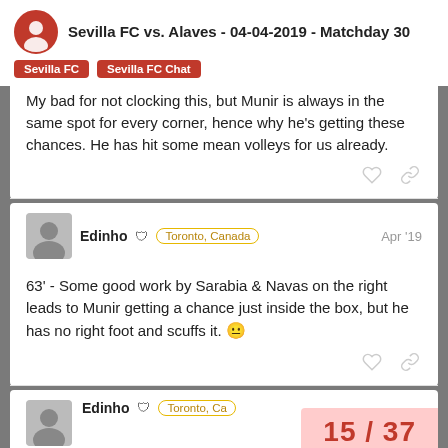Sevilla FC vs. Alaves - 04-04-2019 - Matchday 30
My bad for not clocking this, but Munir is always in the same spot for every corner, hence why he’s getting these chances. He has hit some mean volleys for us already.
Edinho 🛡️ Toronto, Canada Apr '19
63' - Some good work by Sarabia & Navas on the right leads to Munir getting a chance just inside the box, but he has no right foot and scuffs it. 😐
Edinho 🛡️ Toronto, Ca...
15 / 37